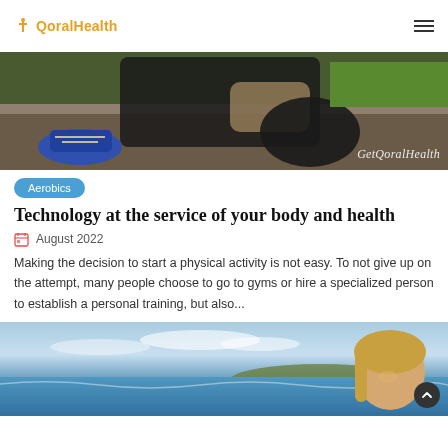QoralHealth
[Figure (photo): Person tying running shoes outdoors on stone steps, wearing black athletic clothes. Text overlay reads 'GetQoralHealth' in white italic serif font.]
Aerobics
Technology at the service of your body and health
August 2022
Making the decision to start a physical activity is not easy. To not give up on the attempt, many people choose to go to gyms or hire a specialized person to establish a personal training, but also...
[Figure (photo): Woman smiling at beach with blue sky and sea in the background.]